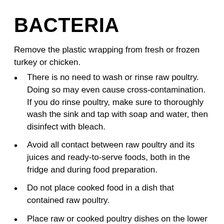BACTERIA
Remove the plastic wrapping from fresh or frozen turkey or chicken.
There is no need to wash or rinse raw poultry. Doing so may even cause cross-contamination. If you do rinse poultry, make sure to thoroughly wash the sink and tap with soap and water, then disinfect with bleach.
Avoid all contact between raw poultry and its juices and ready-to-serve foods, both in the fridge and during food preparation.
Do not place cooked food in a dish that contained raw poultry.
Place raw or cooked poultry dishes on the lower shelves of your fridge so their juices